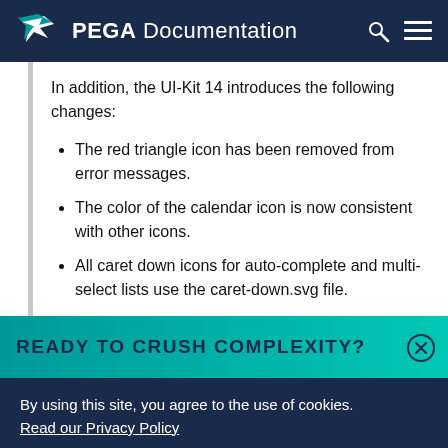PEGA Documentation
In addition, the UI-Kit 14 introduces the following changes:
The red triangle icon has been removed from error messages.
The color of the calendar icon is now consistent with other icons.
All caret down icons for auto-complete and multi-select lists use the caret-down.svg file.
READY TO CRUSH COMPLEXITY?
By using this site, you agree to the use of cookies. Read our Privacy Policy
Accept and continue   About cookies